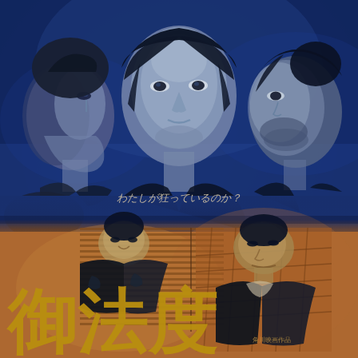[Figure (photo): Japanese period drama movie poster with blue-toned upper half showing three young male actors in traditional Japanese clothing, and an orange/amber lower half showing two older male actors in an interior scene. Large Japanese kanji title at the bottom left in gold. Japanese text tagline in the middle reading わたしが狂っているのか? (Am I the one who is crazy?). Small Japanese text credits at the bottom right.]
わたしが狂っているのか?
御法度